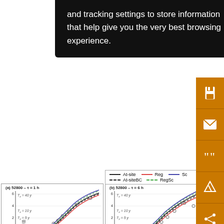and tracking settings to store information that help give you the very best browsing experience.
[Figure (screenshot): Cookie/tracking settings overlay banner on black background]
[Figure (other): Orange sidebar with save, email, quote, annotation, and share icons]
[Figure (line-chart): Panel (a): Gumbel probability plot for site 52800 at τ=1h, showing At-site, Reg, Sc, At-siteBC, RegSc fitted curves and observed data (circles). Annotations: T_x=40y, T_x=10y, T_x=5y, f_3=0.25, f_4=0.13]
[Figure (line-chart): Panel (b): Gumbel probability plot for site 52800 at τ=6h. Annotations: T_x=40y, T_x=10y, T_x=5y, f_3=0.25, f_4=0.18]
[Figure (line-chart): Panel (c): Gumbel probability plot for site 52800 partial view. Annotations: T_x=40y, T_x=10y, T_x=5y]
[Figure (line-chart): Panel (d): Gumbel probability plot for site 68200 at τ=1h (partial)]
[Figure (line-chart): Panel (e): Gumbel probability plot for site 68200 at τ=6h (partial)]
[Figure (line-chart): Panel (f): Gumbel probability plot for site 68200 at τ=24h (partial)]
gau
[ide
(a)-τ
r = 0
(d)-
and
41